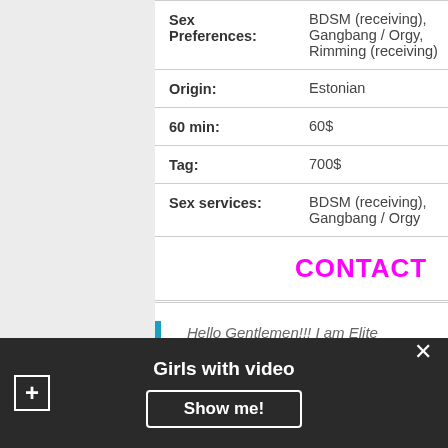| Sex Preferences: | BDSM (receiving), Gangbang / Orgy, Rimming (receiving) |
| Origin: | Estonian |
| 60 min: | 60$ |
| Tag: | 700$ |
| Sex services: | BDSM (receiving), Gangbang / Orgy |
CONTACT
Hello Gentlemen!!! I am Elite Companion ALINA: tall, leggy and busty with stupendous natural 34D breasts; dazzling...
Girls with video  Show me!